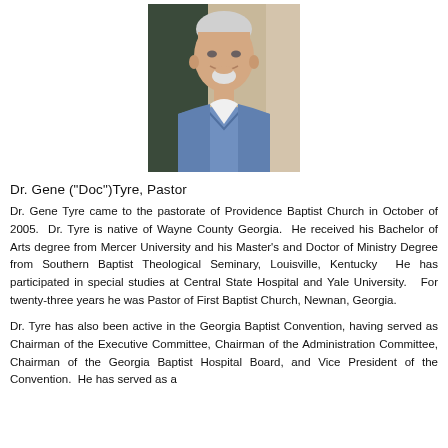[Figure (photo): Portrait photo of Dr. Gene Tyre, an elderly man with white hair and a white goatee, wearing a light blue sweater over a white collared shirt, smiling, photographed outdoors.]
Dr. Gene ("Doc")Tyre, Pastor
Dr. Gene Tyre came to the pastorate of Providence Baptist Church in October of 2005.  Dr. Tyre is native of Wayne County Georgia.  He received his Bachelor of Arts degree from Mercer University and his Master's and Doctor of Ministry Degree from Southern Baptist Theological Seminary, Louisville, Kentucky  He has participated in special studies at Central State Hospital and Yale University.   For twenty-three years he was Pastor of First Baptist Church, Newnan, Georgia.
Dr. Tyre has also been active in the Georgia Baptist Convention, having served as Chairman of the Executive Committee, Chairman of the Administration Committee, Chairman of the Georgia Baptist Hospital Board, and Vice President of the Convention.  He has served as a